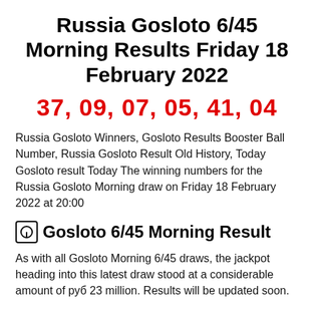Russia Gosloto 6/45 Morning Results Friday 18 February 2022
37, 09, 07, 05, 41, 04
Russia Gosloto Winners, Gosloto Results Booster Ball Number, Russia Gosloto Result Old History, Today Gosloto result Today The winning numbers for the Russia Gosloto Morning draw on Friday 18 February 2022 at 20:00
Gosloto 6/45 Morning Result
As with all Gosloto Morning 6/45 draws, the jackpot heading into this latest draw stood at a considerable amount of руб 23 million. Results will be updated soon.